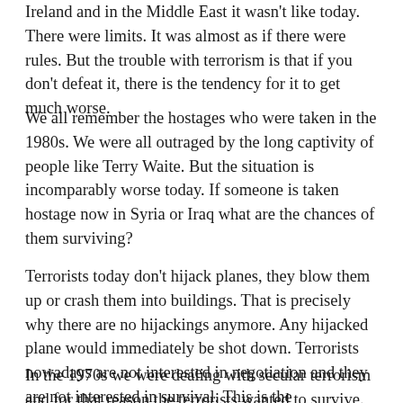Ireland and in the Middle East it wasn't like today. There were limits. It was almost as if there were rules. But the trouble with terrorism is that if you don't defeat it, there is the tendency for it to get much worse.
We all remember the hostages who were taken in the 1980s. We were all outraged by the long captivity of people like Terry Waite. But the situation is incomparably worse today. If someone is taken hostage now in Syria or Iraq what are the chances of them surviving?
Terrorists today don't hijack planes, they blow them up or crash them into buildings. That is precisely why there are no hijackings anymore. Any hijacked plane would immediately be shot down. Terrorists nowadays are not interested in negotiation and they are not interested in survival. This is the fundamental difference.
In the 1970s we were dealing with secular terrorism and for that reason the terrorists wanted to survive. Noo as it